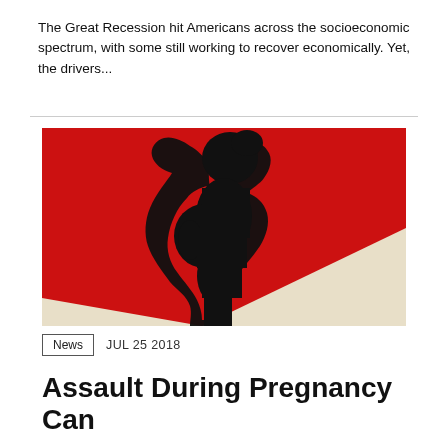The Great Recession hit Americans across the socioeconomic spectrum, with some still working to recover economically. Yet, the drivers...
[Figure (illustration): Silhouette of a pregnant woman in profile against a red and cream/beige background, artistic illustration style.]
News   JUL 25 2018
Assault During Pregnancy Can